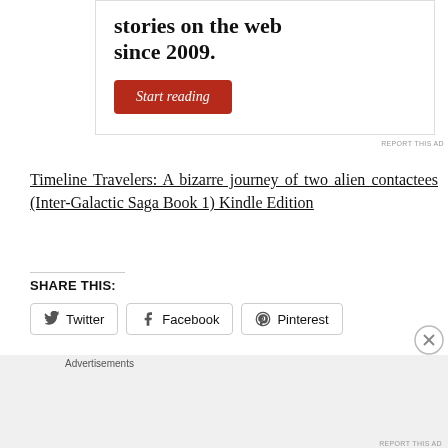[Figure (other): Advertisement box with bold text 'stories on the web since 2009.' and a red button labeled 'Start reading']
REPORT THIS AD
Timeline Travelers: A bizarre journey of two alien contactees (Inter-Galactic Saga Book 1) Kindle Edition
SHARE THIS:
Twitter  Facebook  Pinterest
[Figure (other): Advertisement banner: DuckDuckGo - Search, browse, and email with more privacy. All in One Free App]